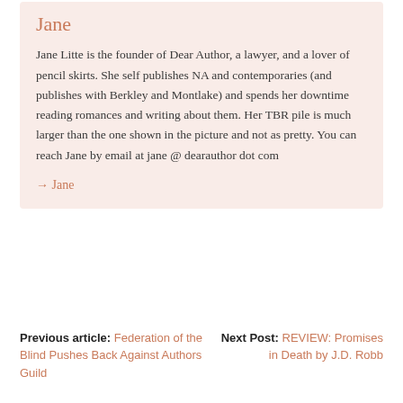Jane
Jane Litte is the founder of Dear Author, a lawyer, and a lover of pencil skirts. She self publishes NA and contemporaries (and publishes with Berkley and Montlake) and spends her downtime reading romances and writing about them. Her TBR pile is much larger than the one shown in the picture and not as pretty. You can reach Jane by email at jane @ dearauthor dot com
→ Jane
Previous article: Federation of the Blind Pushes Back Against Authors Guild
Next Post: REVIEW: Promises in Death by J.D. Robb